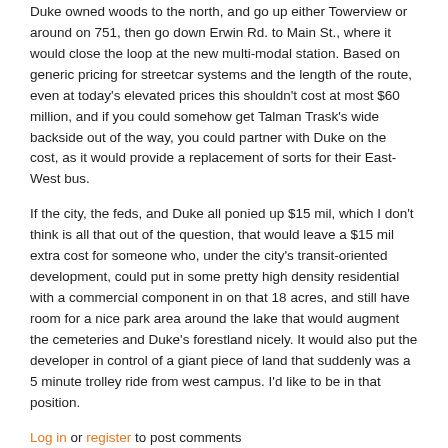Duke owned woods to the north, and go up either Towerview or around on 751, then go down Erwin Rd. to Main St., where it would close the loop at the new multi-modal station. Based on generic pricing for streetcar systems and the length of the route, even at today's elevated prices this shouldn't cost at most $60 million, and if you could somehow get Talman Trask's wide backside out of the way, you could partner with Duke on the cost, as it would provide a replacement of sorts for their East-West bus.
If the city, the feds, and Duke all ponied up $15 mil, which I don't think is all that out of the question, that would leave a $15 mil extra cost for someone who, under the city's transit-oriented development, could put in some pretty high density residential with a commercial component in on that 18 acres, and still have room for a nice park area around the lake that would augment the cemeteries and Duke's forestland nicely. It would also put the developer in control of a giant piece of land that suddenly was a 5 minute trolley ride from west campus. I'd like to be in that position.
Log in or register to post comments
Oh, and I meant to put this